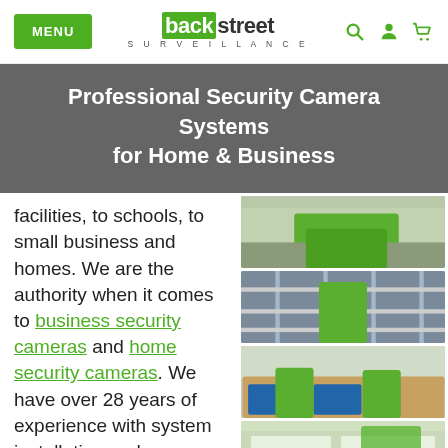MENU | backstreet SURVEILLANCE
Professional Security Camera Systems for Home & Business
facilities, to schools, to small business and homes. We are the authority when it comes to business security cameras and home security cameras. We have over 28 years of experience with system installation and applications. Our
[Figure (photo): Person in green shirt working at a desk]
[Figure (photo): Person in green shirt retrieving items from warehouse shelving]
[Figure (photo): Office workers in green shirts at computer monitors]
[Figure (photo): Partial view of another office/workspace scene]